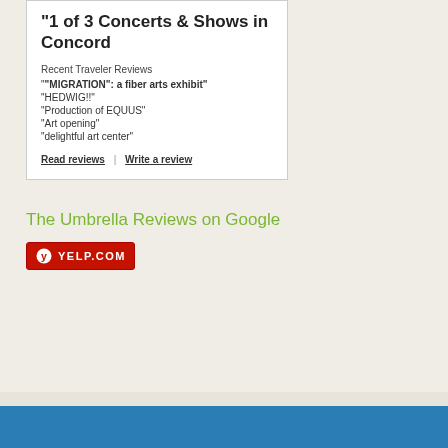“1 of 3 Concerts & Shows in Concord
Recent Traveler Reviews
““MIGRATION”: a fiber arts exhibit”
“HEDWIG!!”
“Production of EQUUS”
“Art opening”
“delightful art center”
Read reviews | Write a review
The Umbrella Reviews on Google
[Figure (logo): Yelp.com logo badge in red with white Yelp burst icon and YELP.COM text]